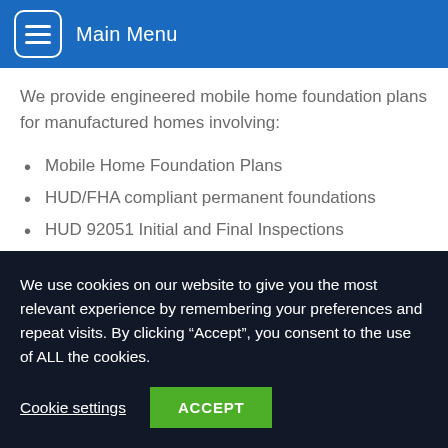Main Menu
We provide engineered mobile home foundation plans for manufactured homes involving:
Mobile Home Foundation Plans
HUD/FHA compliant permanent foundations
HUD 92051 Initial and Final Inspections
VA permanent foundations
Conventional loan permanent foundations
California 433a and 433b permanent foundations
We use cookies on our website to give you the most relevant experience by remembering your preferences and repeat visits. By clicking "Accept", you consent to the use of ALL the cookies.
Cookie settings  ACCEPT